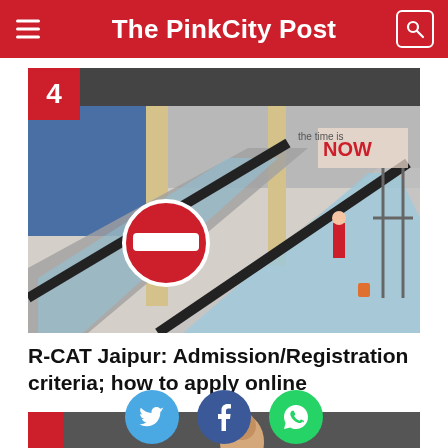The PinkCity Post
[Figure (photo): Interior of a building showing escalators, glass railings, and workers on the floor. A red no-entry sign is visible on the escalator. In the background, a sign reads 'the time is NOW'.]
R-CAT Jaipur: Admission/Registration criteria; how to apply online
[Figure (photo): Partially visible teaser image for next article showing a person's face]
[Figure (infographic): Social sharing buttons: Twitter (blue bird), Facebook (blue f), WhatsApp (green phone)]